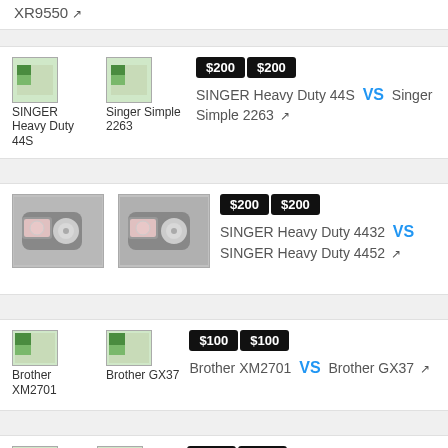XR9550 ↗
$200  $200  SINGER Heavy Duty 44S VS Singer Simple 2263 ↗
[Figure (photo): SINGER Heavy Duty 44S sewing machine product image placeholder]
[Figure (photo): Singer Simple 2263 sewing machine product image placeholder]
$200  $200  SINGER Heavy Duty 4432 VS SINGER Heavy Duty 4452 ↗
[Figure (photo): SINGER Heavy Duty 4432 sewing machine photo]
[Figure (photo): SINGER Heavy Duty 4452 sewing machine photo]
$100  $100  Brother XM2701 VS Brother GX37 ↗
[Figure (photo): Brother XM2701 sewing machine image placeholder]
[Figure (photo): Brother GX37 sewing machine image placeholder]
$600  $300  Singer 7285q VS Brother cs7205 ↗
[Figure (photo): Singer 7285q sewing machine image placeholder]
[Figure (photo): Brother cs7205 sewing machine image placeholder]